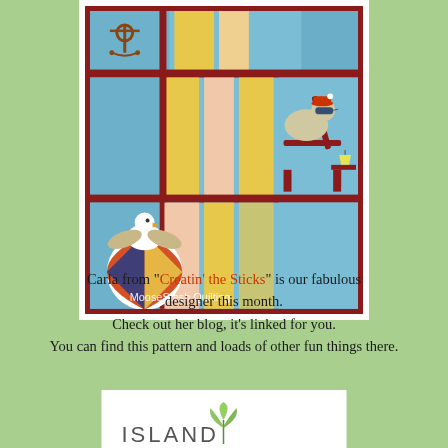[Figure (photo): A quilt featuring beach-themed appliqué blocks including an anchor, a bird lounging on a chair with a drink, and a seagull perched on a beach ball, with blue, yellow, pink, and red patchwork strips. Watermark reads 'MooseStash Quilting'.]
Carla from "Creatin' the Sticks" is our fabulous designer this month. Check out her blog, it's linked for you. You can find this pattern and loads of other fun things there.
[Figure (logo): Partial logo showing 'ISLAND' text with a tropical plant/leaf graphic, on white background.]